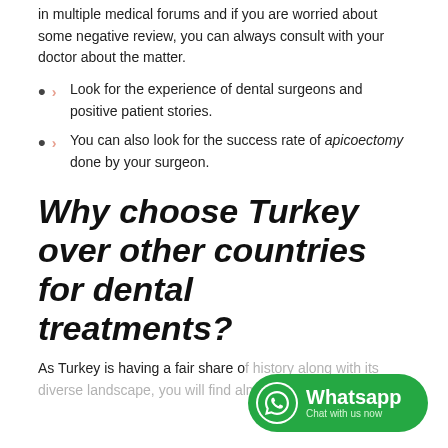in multiple medical forums and if you are worried about some negative review, you can always consult with your doctor about the matter.
Look for the experience of dental surgeons and positive patient stories.
You can also look for the success rate of apicoectomy done by your surgeon.
Why choose Turkey over other countries for dental treatments?
As Turkey is having a fair share of history along with its diverse landscape, you will find almost all the tourism...